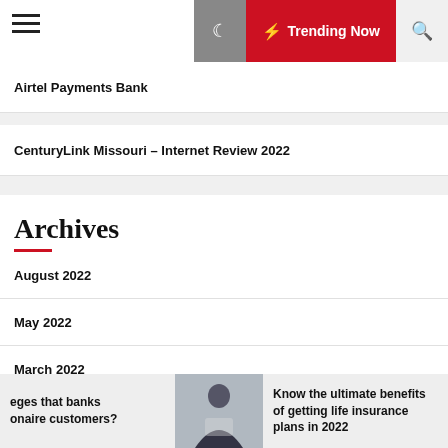Trending Now
Airtel Payments Bank
CenturyLink Missouri – Internet Review 2022
Archives
August 2022
May 2022
March 2022
February 2022
eges that banks onaire customers?  Know the ultimate benefits of getting life insurance plans in 2022